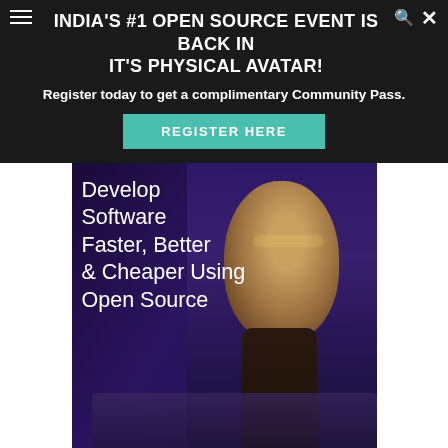INDIA'S #1 OPEN SOURCE EVENT IS BACK IN IT'S PHYSICAL AVATAR!
Register today to get a complimentary Community Pass.
REGISTER HERE
[Figure (photo): A person working at a computer in a dark blue-purple lit environment. Overlaid text reads: Develop Software Faster, Better & Cheaper Using Open Source]
[Figure (infographic): Blue and light-blue pixel/square grid logo pattern on blue background, with additional squares below]
[Figure (infographic): Yellow advertisement banner: BEWARE! You migh... with heart graphic and Express magazine cover, with close button]